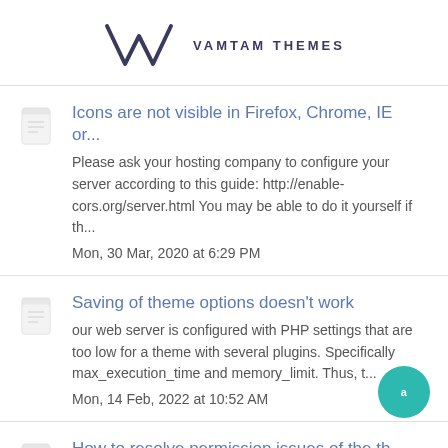VAMTAM THEMES
Icons are not visible in Firefox, Chrome, IE or...
Please ask your hosting company to configure your server according to this guide: http://enable-cors.org/server.html You may be able to do it yourself if th...
Mon, 30 Mar, 2020 at 6:29 PM
Saving of theme options doesn't work
our web server is configured with PHP settings that are too low for a theme with several plugins. Specifically max_execution_time and memory_limit. Thus, t...
Mon, 14 Feb, 2022 at 10:52 AM
How to resolve permission issues of the th...
Please note: The guide below uses the 777 permission merely as an example. In most circumstances, using